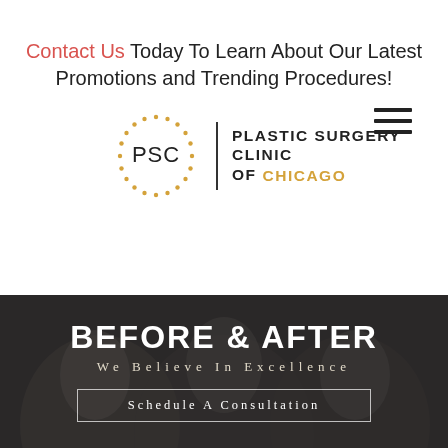Contact Us Today To Learn About Our Latest Promotions and Trending Procedures!
[Figure (logo): PSC Plastic Surgery Clinic of Chicago logo with dotted circle around PSC initials and vertical divider line]
[Figure (photo): Dark grayscale hero image of three women, overlaid with BEFORE & AFTER heading and subtitle We Believe In Excellence, with Schedule A Consultation button]